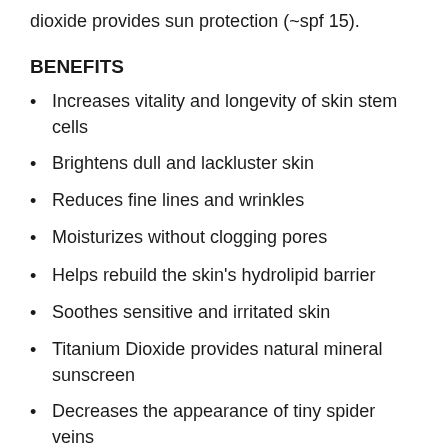...and support collagen repair while titanium dioxide provides sun protection (~spf 15).
BENEFITS
Increases vitality and longevity of skin stem cells
Brightens dull and lackluster skin
Reduces fine lines and wrinkles
Moisturizes without clogging pores
Helps rebuild the skin's hydrolipid barrier
Soothes sensitive and irritated skin
Titanium Dioxide provides natural mineral sunscreen
Decreases the appearance of tiny spider veins
Stimulates our skin's stem cells to create more